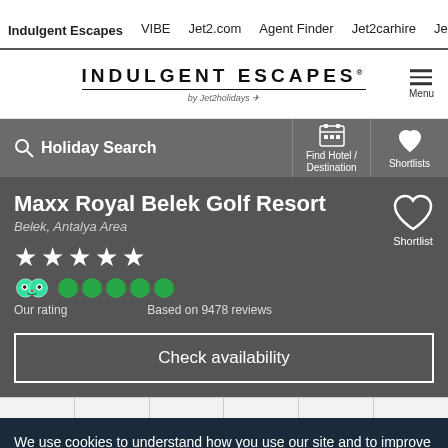Indulgent Escapes | VIBE | Jet2.com | Agent Finder | Jet2carhire
[Figure (logo): INDULGENT ESCAPES by Jet2holidays logo with hamburger menu button]
Holiday Search | Find Hotel / Destination | Shortlists
Maxx Royal Belek Golf Resort
Belek, Antalya Area
Our rating — 5 stars. Based on 9478 reviews (TripAdvisor 5 circles)
Check availability
We use cookies to understand how you use our site and to improve your experience. Click 'Ok, got it' to accept or learn more about managing your cookies.